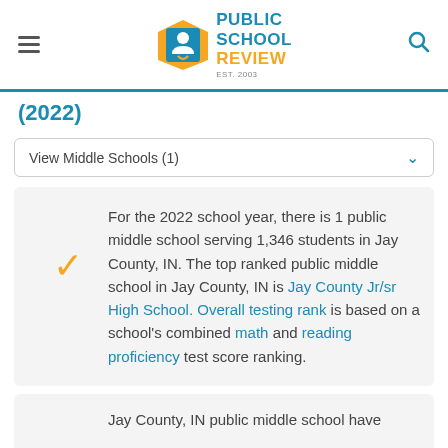Public School Review - EST. 2003
(2022)
View Middle Schools (1)
For the 2022 school year, there is 1 public middle school serving 1,346 students in Jay County, IN. The top ranked public middle school in Jay County, IN is Jay County Jr/sr High School. Overall testing rank is based on a school's combined math and reading proficiency test score ranking.
Jay County, IN public middle school have